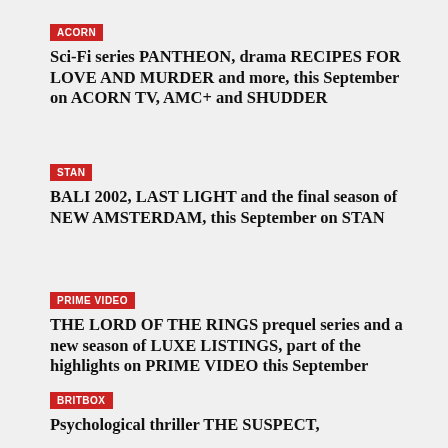ACORN
Sci-Fi series PANTHEON, drama RECIPES FOR LOVE AND MURDER and more, this September on ACORN TV, AMC+ and SHUDDER
STAN
BALI 2002, LAST LIGHT and the final season of NEW AMSTERDAM, this September on STAN
PRIME VIDEO
THE LORD OF THE RINGS prequel series and a new season of LUXE LISTINGS, part of the highlights on PRIME VIDEO this September
BRITBOX
Psychological thriller THE SUSPECT,